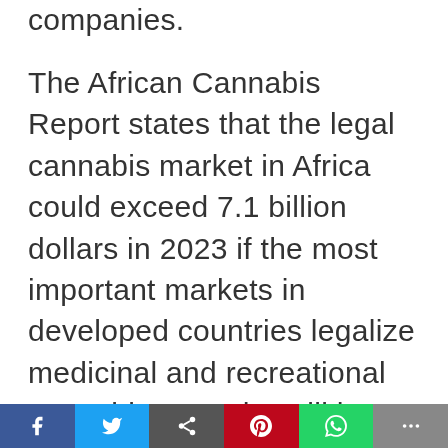companies.
The African Cannabis Report states that the legal cannabis market in Africa could exceed 7.1 billion dollars in 2023 if the most important markets in developed countries legalize medicinal and recreational cannabis. Lesotho will have a key role in the service and supply of the African market. The country legalized medical cannabis in December 2017, which allowed many farmers who previously cultivated to supply the black market to become legal
Social share bar: Facebook, Twitter, Share, Pinterest, WhatsApp, More